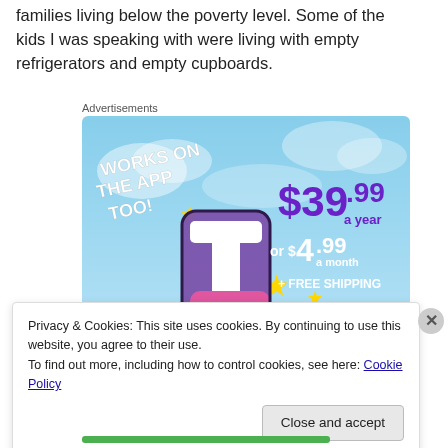families living below the poverty level. Some of the kids I was speaking with were living with empty refrigerators and empty cupboards.
Advertisements
[Figure (illustration): Advertisement banner for Tumblr subscription: 'WORKS ON THE APP TOO!' with a stylized letter T logo and pricing '$39.99 a year or $4.99 a month + FREE SHIPPING' on a blue cloudy background]
Privacy & Cookies: This site uses cookies. By continuing to use this website, you agree to their use.
To find out more, including how to control cookies, see here: Cookie Policy
Close and accept